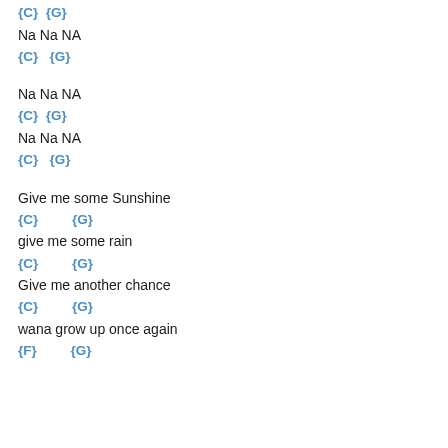{C}  {G}
Na Na NA
{C}  {G}
Na Na NA
{C}  {G}
Na Na NA
{C}  {G}
Give me some Sunshine
{C}         {G}
give me some rain
{C}         {G}
Give me another chance
{C}         {G}
wana grow up once again
{F}         {G}